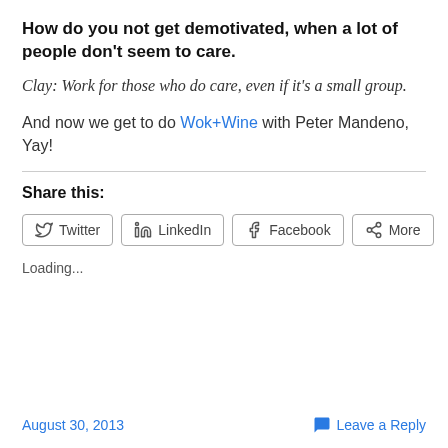How do you not get demotivated, when a lot of people don't seem to care.
Clay: Work for those who do care, even if it's a small group.
And now we get to do Wok+Wine with Peter Mandeno, Yay!
Share this:
Twitter  LinkedIn  Facebook  More
Loading...
August 30, 2013    Leave a Reply